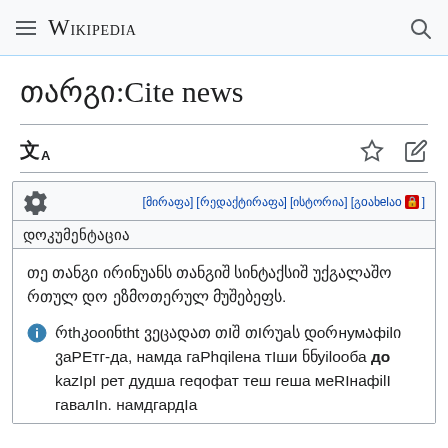≡ Wikipedia 🔍
თარგი:Cite news
[Figure (other): Language, star, and edit toolbar icons]
[მირაფა] [რედაქტირაფა] [ისტორია] [გოახელაო🔒] დოკუმენტაცია
თე თანგი ირინუანს თანგიშ სინტაქსიშ უქგალაშო რთულ დო ეზმოთერულ მუშებეფს.
რთkooინთ ვეცადათ თიშ თირუას დoრნუმაფილი ვარეთc-და, ნამდა გარhქilენა თიში ნნyილooბა დო kაzირი რეთ დუდrა გეqოფათ თეშ გეrა მERინაფilი გავalин. ნამდgარდია